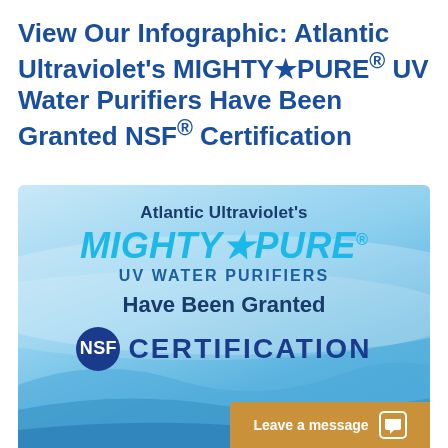View Our Infographic: Atlantic Ultraviolet's MIGHTY★PURE® UV Water Purifiers Have Been Granted NSF® Certification
[Figure (infographic): Atlantic Ultraviolet's MIGHTY★PURE UV Water Purifiers Have Been Granted NSF Certification infographic on blue water background with NSF badge and Leave a message chat widget]